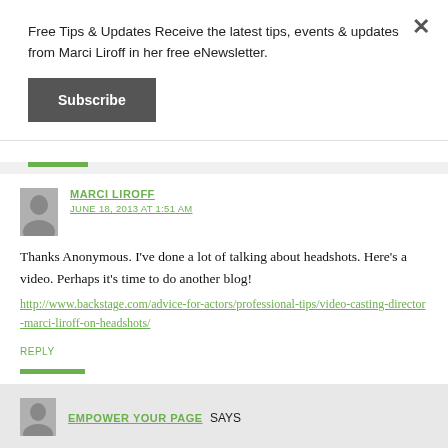Free Tips & Updates Receive the latest tips, events & updates from Marci Liroff in her free eNewsletter.
Subscribe
MARCI LIROFF SAYS
JUNE 18, 2013 AT 1:51 AM
Thanks Anonymous. I've done a lot of talking about headshots. Here's a video. Perhaps it's time to do another blog!
http://www.backstage.com/advice-for-actors/professional-tips/video-casting-director-marci-liroff-on-headshots/
REPLY
EMPOWER YOUR PAGE SAYS